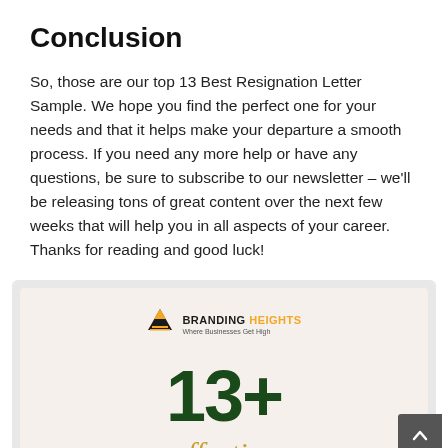Conclusion
So, those are our top 13 Best Resignation Letter Sample. We hope you find the perfect one for your needs and that it helps make your departure a smooth process. If you need any more help or have any questions, be sure to subscribe to our newsletter – we'll be releasing tons of great content over the next few weeks that will help you in all aspects of your career. Thanks for reading and good luck!
[Figure (infographic): Branding Heights infographic showing '13+' in large dark green text with golden script text below, on a light beige background. Logo reads 'BRANDING HEIGHTS – Where Businesses Get High'.]